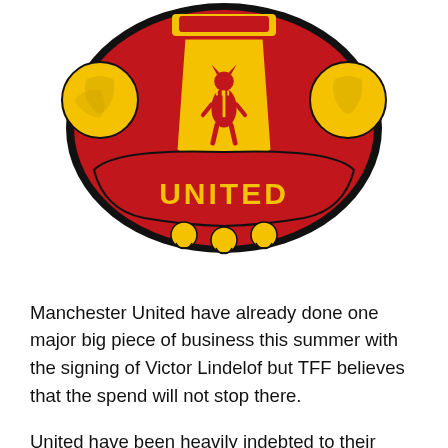[Figure (logo): Manchester United Football Club crest/logo featuring a red devil on a gold shield, surrounded by red scroll with 'UNITED' in yellow, with two yellow footballs on either side, and a red devil figure on top.]
Manchester United have already done one major big piece of business this summer with the signing of Victor Lindelof but TFF believes that the spend will not stop there.
United have been heavily indebted to their brilliant midfielder Michael Carrick over the years. But at the